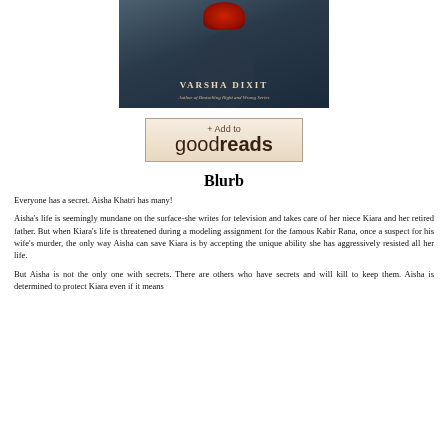[Figure (illustration): Book cover showing a woman with a red hat against a dark moody background, with author name VARSHA DIXIT and subtitle 'Author of Bestselling Right and Wrong Series']
[Figure (other): Goodreads button with '+ Add to goodreads' text on a beige/tan background with border]
Blurb
Everyone has a secret. Aisha Khatri has many!
Aisha's life is seemingly mundane on the surface-she writes for television and takes care of her niece Kiara and her retired father. But when Kiara's life is threatened during a modeling assignment for the famous Kabir Rana, once a suspect for his wife's murder, the only way Aisha can save Kiara is by accepting the unique ability she has aggressively resisted all her life.
But Aisha is not the only one with secrets. There are others who have secrets and will kill to keep them. Aisha is determined to protect Kiara even if it means